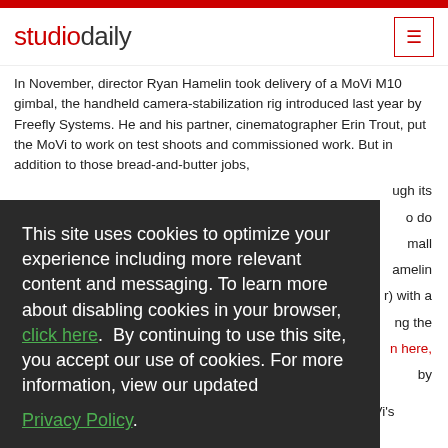studiodaily
In November, director Ryan Hamelin took delivery of a MoVi M10 gimbal, the handheld camera-stabilization rig introduced last year by Freefly Systems. He and his partner, cinematographer Erin Trout, put the MoVi to work on test shoots and commissioned work. But in addition to those bread-and-butter jobs, [partially obscured text continues] ...ugh its ...o do ...mall ...amelin ...) with a ...ng the ...n here, ...by ...your ...cky. You ...mbers in ...and ...A. Hart ...e lead ...articles
This site uses cookies to optimize your experience including more relevant content and messaging. To learn more about disabling cookies in your browser, click here. By continuing to use this site, you accept our use of cookies. For more information, view our updated Privacy Policy.
information on the shoot, including his feelings about the MoVi's single-